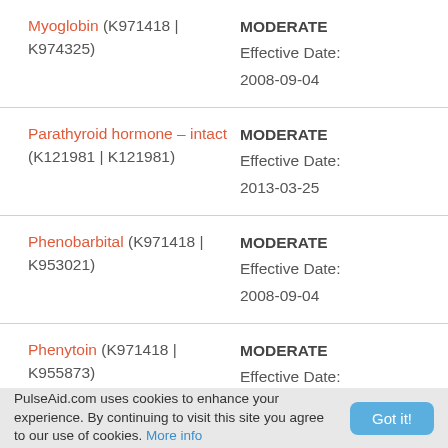Myoglobin (K971418 | K974325) — MODERATE — Effective Date: 2008-09-04
Parathyroid hormone – intact (K121981 | K121981) — MODERATE — Effective Date: 2013-03-25
Phenobarbital (K971418 | K953021) — MODERATE — Effective Date: 2008-09-04
Phenytoin (K971418 | K955873) — MODERATE — Effective Date:
PulseAid.com uses cookies to enhance your experience. By continuing to visit this site you agree to our use of cookies. More info